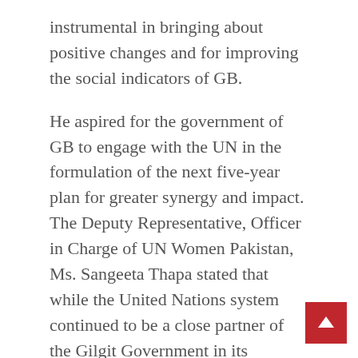instrumental in bringing about positive changes and for improving the social indicators of GB.
He aspired for the government of GB to engage with the UN in the formulation of the next five-year plan for greater synergy and impact. The Deputy Representative, Officer in Charge of UN Women Pakistan, Ms. Sangeeta Thapa stated that while the United Nations system continued to be a close partner of the Gilgit Government in its development endeavors, there was still much scope for the idening of their growing partnership.
She expressed her immense gratitude to the government of GB and the participants, whose inputs she maintained would be crucial in further refining of the One United Nations development assistance to the province. Furthermore, she